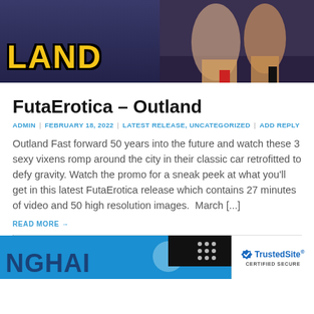[Figure (photo): Top banner image showing partial text 'LAND' in yellow with black outline on dark background, with figures of people visible on right side]
FutaErotica – Outland
ADMIN : FEBRUARY 18, 2022 : LATEST RELEASE, UNCATEGORIZED : ADD REPLY
Outland Fast forward 50 years into the future and watch these 3 sexy vixens romp around the city in their classic car retrofitted to defy gravity. Watch the promo for a sneak peek at what you'll get in this latest FutaErotica release which contains 27 minutes of video and 50 high resolution images.  March [...]
READ MORE →
[Figure (photo): Bottom partial banner image with blue background showing partial text 'NGHAI' and a TrustedSite Certified Secure badge on the right]